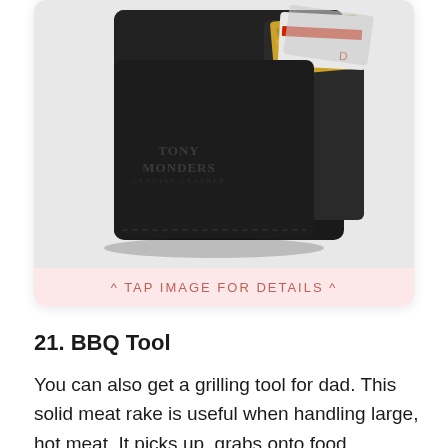[Figure (photo): A black leather slim wallet (Tony Monders brand) shown at an angle with credit cards partially visible — one gold card and other cards fanning out from the top right]
^ TAP IMAGE FOR DETAILS ^
21. BBQ Tool
You can also get a grilling tool for dad. This solid meat rake is useful when handling large, hot meat. It picks up, grabs onto food